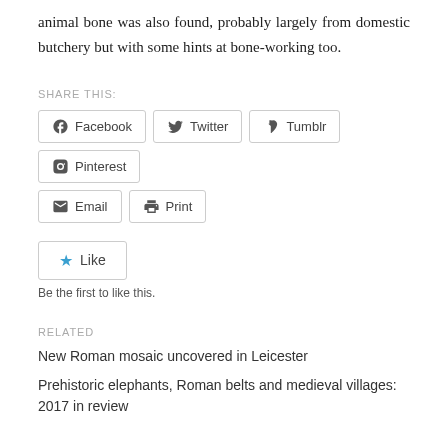animal bone was also found, probably largely from domestic butchery but with some hints at bone-working too.
SHARE THIS:
Facebook  Twitter  Tumblr  Pinterest  Email  Print
Like
Be the first to like this.
RELATED
New Roman mosaic uncovered in Leicester
Prehistoric elephants, Roman belts and medieval villages: 2017 in review